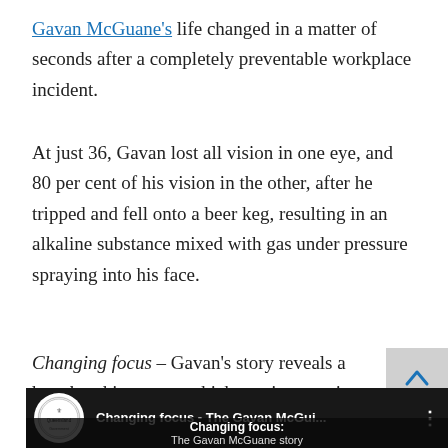Gavan McGuane's life changed in a matter of seconds after a completely preventable workplace incident.
At just 36, Gavan lost all vision in one eye, and 80 per cent of his vision in the other, after he tripped and fell onto a beer keg, resulting in an alkaline substance mixed with gas under pressure spraying into his face.
Changing focus – Gavan's story reveals a heartbreaking story, which continues to impact heavily on Gavan, as well as his family and friends.
[Figure (screenshot): Video thumbnail for 'Changing focus - The Gavan McGuane story' featuring Queensland government logo and text overlay showing 'Changing focus: The Gavan McGuane story' on dark background]